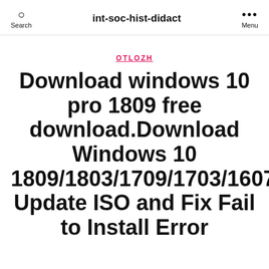Search   int-soc-hist-didact   Menu
OTLOZH
Download windows 10 pro 1809 free download.Download Windows 10 1809/1803/1709/1703/1607/1507 Update ISO and Fix Fail to Install Error